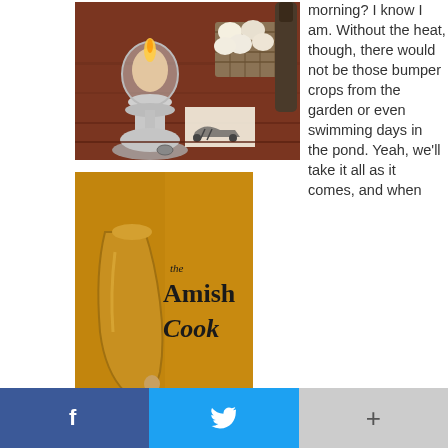[Figure (photo): Photo of oil lamp candle holders and a basket of eggs on a dark wooden surface with a small Amish horse-and-buggy card visible]
[Figure (photo): Cover of 'the Amish Cook' book with golden/yellow background showing a ceramic vase and illustrated figures]
morning? I know I am. Without the heat, though, there would not be those bumper crops from the garden or even swimming days in the pond. Yeah, we'll take it all as it comes, and when
f  [twitter bird icon]  +